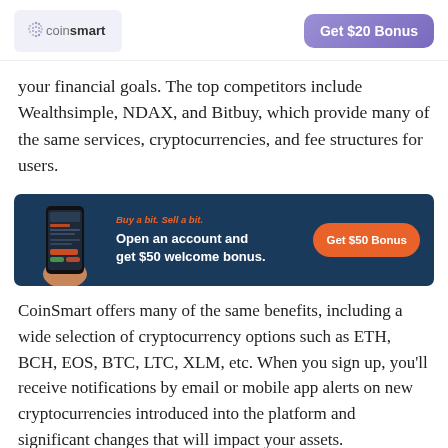coinsmart | Get $20 Bonus
your financial goals. The top competitors include Wealthsimple, NDAX, and Bitbuy, which provide many of the same services, cryptocurrencies, and fee structures for users.
[Figure (infographic): CoinSmart advertisement banner with dark blue background showing a phone with the app, orange text 'Buy a bit. Sell a bit.', white headline 'Open an account and get $50 welcome bonus.' and an orange 'Get $50 Bonus' button.]
CoinSmart offers many of the same benefits, including a wide selection of cryptocurrency options such as ETH, BCH, EOS, BTC, LTC, XLM, etc. When you sign up, you'll receive notifications by email or mobile app alerts on new cryptocurrencies introduced into the platform and significant changes that will impact your assets.